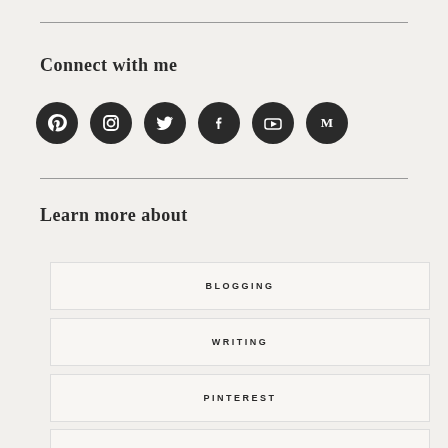Connect with me
[Figure (infographic): Six circular social media icons in dark/black: Pinterest, Instagram, Twitter, Facebook, YouTube, Medium]
Learn more about
BLOGGING
WRITING
PINTEREST
ONLINE INCOME